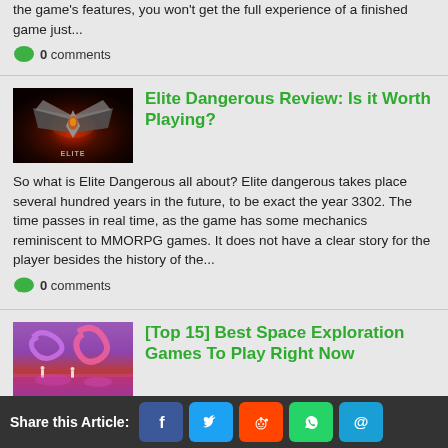the game's features, you won't get the full experience of a finished game just...
0 comments
Elite Dangerous Review: Is it Worth Playing?
So what is Elite Dangerous all about? Elite dangerous takes place several hundred years in the future, to be exact the year 3302. The time passes in real time, as the game has some mechanics reminiscent to MMORPG games. It does not have a clear story for the player besides the history of the...
0 comments
[Top 15] Best Space Exploration Games To Play Right Now
A good space game featuring some in-depth exploration and well-thought out progression is always a welcome addition to a game library. Escape for a few...
Share this Article: